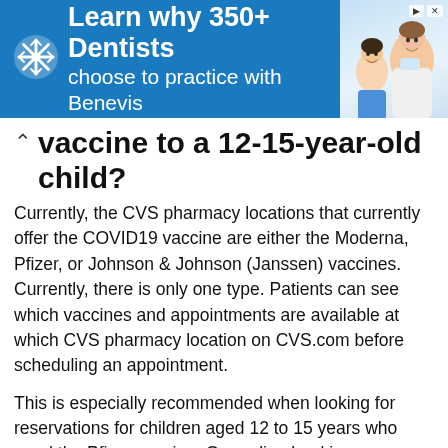[Figure (other): Advertisement banner: blue background with Benevis logo/snowflake icon, text 'Learn why 350+ Dentists choose to practice with Benevis', and a photo of a smiling dentist with a child patient on the right side. Has close/adchoices icons in top right corner.]
vaccine to a 12-15-year-old child?
Currently, the CVS pharmacy locations that currently offer the COVID19 vaccine are either the Moderna, Pfizer, or Johnson & Johnson (Janssen) vaccines. Currently, there is only one type. Patients can see which vaccines and appointments are available at which CVS pharmacy location on CVS.com before scheduling an appointment.
This is especially recommended when looking for reservations for children aged 12 to 15 years who need the Pfizer vaccine. Our online booking scheduling tool will only show bookings at locations where you are vaccinated with the Pfizer BioNTech vaccine if the ...